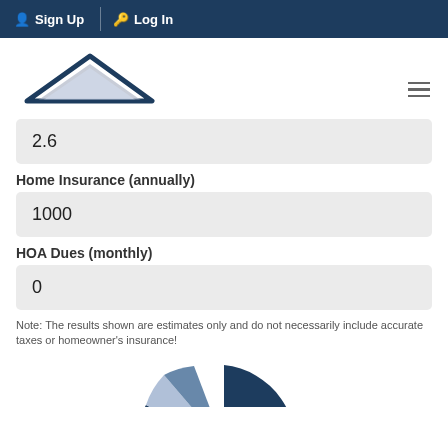Sign Up  Log In
[Figure (logo): Austin Market Realty logo with house roof graphic and text]
2.6
Home Insurance (annually)
1000
HOA Dues (monthly)
0
Note: The results shown are estimates only and do not necessarily include accurate taxes or homeowner's insurance!
[Figure (pie-chart): Partial pie/donut chart visible at bottom of page in dark blue and light gray colors]